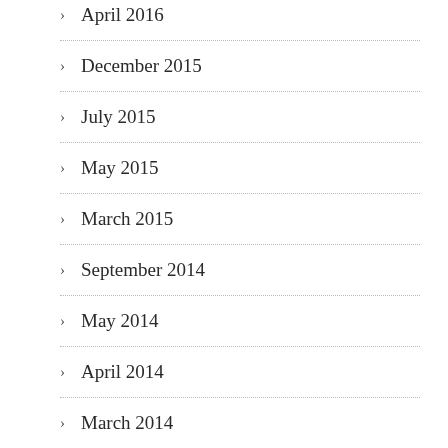April 2016
December 2015
July 2015
May 2015
March 2015
September 2014
May 2014
April 2014
March 2014
January 2014